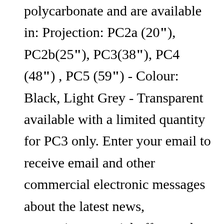polycarbonate and are available in: Projection: PC2a (20"), PC2b(25"), PC3(38"), PC4 (48") , PC5 (59") - Colour: Black, Light Grey - Transparent available with a limited quantity for PC3 only. Enter your email to receive email and other commercial electronic messages about the latest news, promotions, special offers and other information from Costco, regarding Costco, its affiliates and selected partners. Our friendly team can also help you choose the best awning option (polycarbonate or fabric) to fit your home and budget. The multi-wall translucent polycarbonate canopy cover sheets are virtually indestructible. Each Pearl-series Canopy Awning Do-It-Yourself (DIY) kit